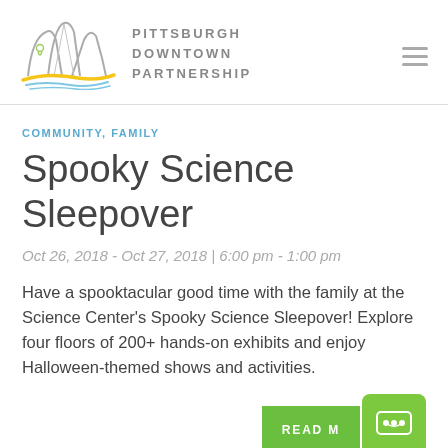[Figure (logo): Pittsburgh Downtown Partnership logo with stylized bridge and water illustration in gray, yellow, and blue, with organization name in gray uppercase letters.]
COMMUNITY, FAMILY
Spooky Science Sleepover
Oct 26, 2018 - Oct 27, 2018  |  6:00 pm - 1:00 pm
Have a spooktacular good time with the family at the Science Center's Spooky Science Sleepover! Explore four floors of 200+ hands-on exhibits and enjoy Halloween-themed shows and activities.
READ M